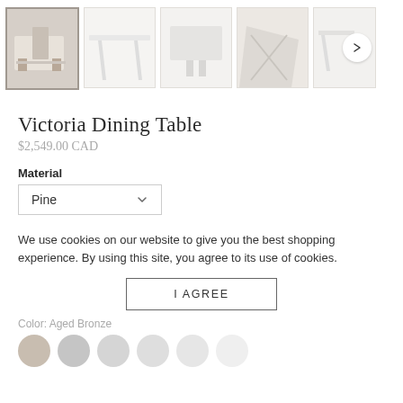[Figure (photo): Product image thumbnail gallery showing 5 thumbnails of a white dining table from various angles, with a right arrow navigation button]
Victoria Dining Table
$2,549.00 CAD
Material
Pine
We use cookies on our website to give you the best shopping experience. By using this site, you agree to its use of cookies.
I AGREE
Color: Aged Bronze
[Figure (illustration): Color swatch circles row for color selection]